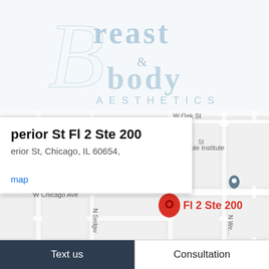[Figure (logo): Breast & Body Aesthetics logo with large decorative B, text 'breast & body AESTHETICS' in light blue/grey tones]
[Figure (map): Google Maps screenshot showing a location pin at Superior St Fl 2 Ste 200, Chicago IL 60654. Map shows W Oak St, W Chicago Ave, N Sedgwick, street grid. A red map pin labeled 'Fl 2 Ste 200' and a grey teardrop pin for Bible Institute are visible. A white popup card shows the address text and a 'map' link.]
perior St Fl 2 Ste 200
erior St, Chicago, IL 60654,
map
Text us
Consultation